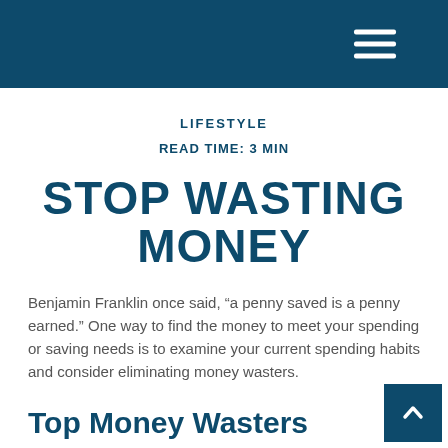LIFESTYLE
READ TIME: 3 MIN
STOP WASTING MONEY
Benjamin Franklin once said, “a penny saved is a penny earned.” One way to find the money to meet your spending or saving needs is to examine your current spending habits and consider eliminating money wasters.
Top Money Wasters
Bargain Shopping…and its Expensive Cousin, Impulse Buying: